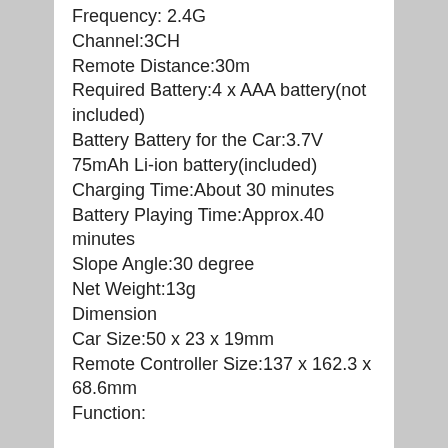Frequency: 2.4G
Channel:3CH
Remote Distance:30m
Required Battery:4 x AAA battery(not included)
Battery Battery for the Car:3.7V 75mAh Li-ion battery(included)
Charging Time:About 30 minutes
Battery Playing Time:Approx.40 minutes
Slope Angle:30 degree
Net Weight:13g
Dimension
Car Size:50 x 23 x 19mm
Remote Controller Size:137 x 162.3 x 68.6mm
Function: